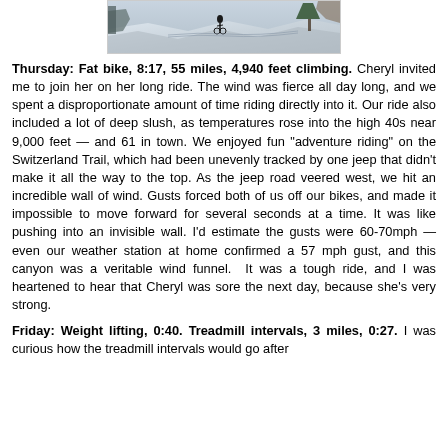[Figure (photo): Snowy mountain scene with a person on a fat bike on a snow-covered trail with trees and rocky terrain]
Thursday: Fat bike, 8:17, 55 miles, 4,940 feet climbing. Cheryl invited me to join her on her long ride. The wind was fierce all day long, and we spent a disproportionate amount of time riding directly into it. Our ride also included a lot of deep slush, as temperatures rose into the high 40s near 9,000 feet — and 61 in town. We enjoyed fun "adventure riding" on the Switzerland Trail, which had been unevenly tracked by one jeep that didn't make it all the way to the top. As the jeep road veered west, we hit an incredible wall of wind. Gusts forced both of us off our bikes, and made it impossible to move forward for several seconds at a time. It was like pushing into an invisible wall. I'd estimate the gusts were 60-70mph — even our weather station at home confirmed a 57 mph gust, and this canyon was a veritable wind funnel.  It was a tough ride, and I was heartened to hear that Cheryl was sore the next day, because she's very strong.
Friday: Weight lifting, 0:40. Treadmill intervals, 3 miles, 0:27. I was curious how the treadmill intervals would go after